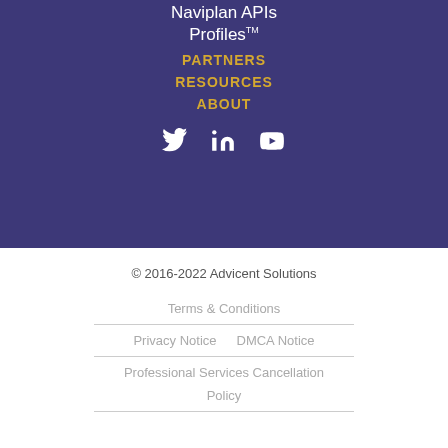Naviplan APIs Profiles™
PARTNERS
RESOURCES
ABOUT
[Figure (other): Social media icons: Twitter, LinkedIn, YouTube]
© 2016-2022 Advicent Solutions
Terms & Conditions
Privacy Notice    DMCA Notice
Professional Services Cancellation Policy